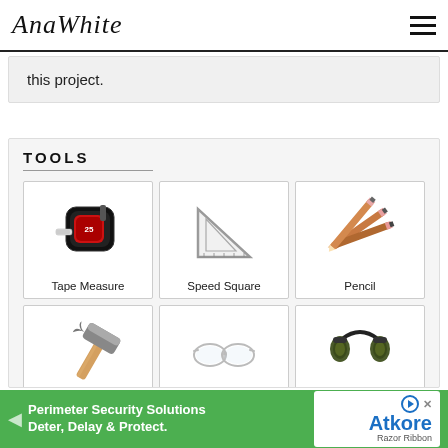AnaWhite
this project.
TOOLS
[Figure (photo): Tape Measure tool image with label 'Tape Measure']
[Figure (photo): Speed Square tool image with label 'Speed Square']
[Figure (photo): Pencil tool image with label 'Pencil']
[Figure (photo): Hammer tool image with label 'Hammer']
[Figure (photo): Safety Glasses tool image with label 'Safety Glasses']
[Figure (photo): Ear Protection tool image with label 'Ear Protection']
Perimeter Security Solutions Deter, Delay & Protect. Atkore Razor Ribbon